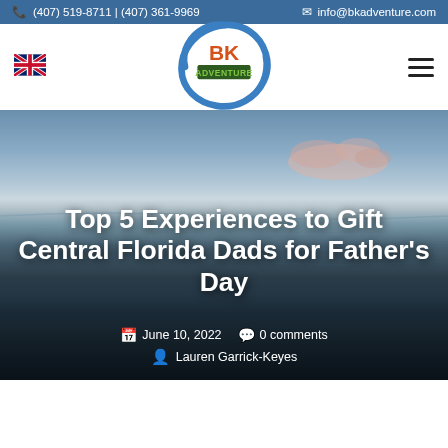(407) 519-8711 | (407) 361-9969  |  info@bkadventure.com
[Figure (logo): BK Adventure circular logo with blue brushstroke circle, orange BK text and green ADVENTURE text]
Top 5 Experiences to Gift Central Florida Dads for Father's Day
June 10, 2022  0 comments  Lauren Garrick-Keyes